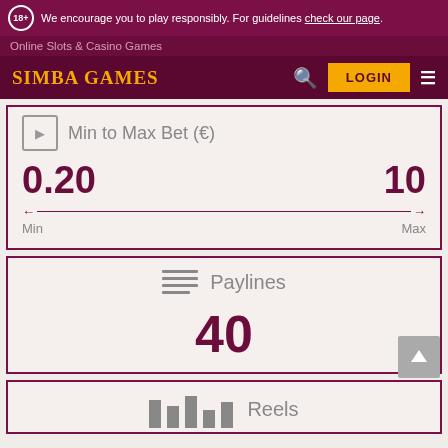18+ We encourage you to play responsibly. For guidelines check our page.
Online Slots & Casino Games
SIMBA GAMES
LOGIN
Min to Max Bet (€)
0.20
10
Min
Max
Paylines
40
Reels